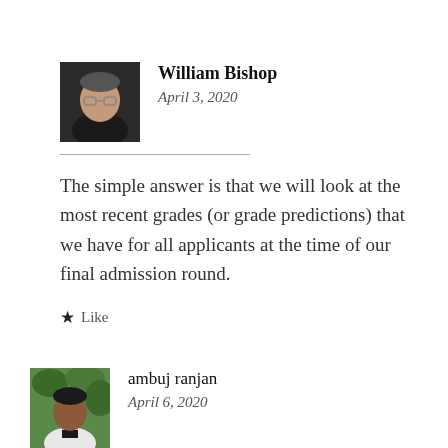[Figure (photo): Profile photo of William Bishop, a man wearing glasses and a dark shirt]
William Bishop
April 3, 2020
The simple answer is that we will look at the most recent grades (or grade predictions) that we have for all applicants at the time of our final admission round.
Like
[Figure (photo): Profile photo of ambuj ranjan, a young person outdoors with green background]
ambuj ranjan
April 6, 2020